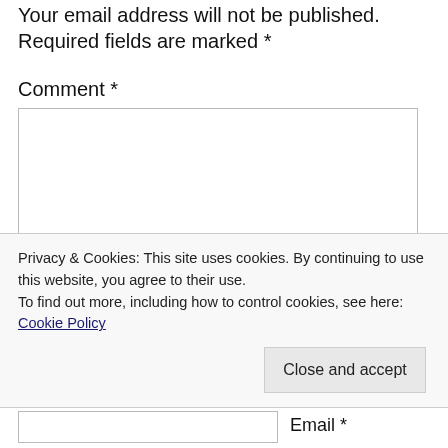Your email address will not be published. Required fields are marked *
Comment *
[Figure (other): Empty comment textarea input box]
Privacy & Cookies: This site uses cookies. By continuing to use this website, you agree to their use. To find out more, including how to control cookies, see here: Cookie Policy
Close and accept
Email *